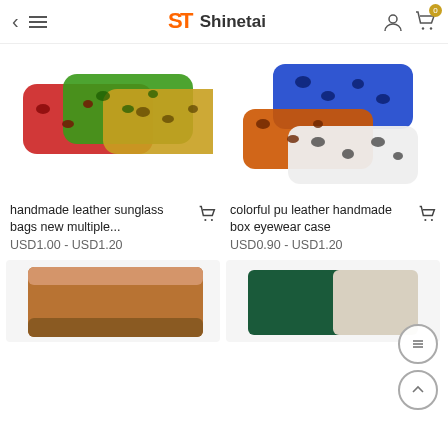Shinetai
[Figure (photo): Colorful leopard print handmade leather sunglass bags in multiple colors (red, green, yellow/brown)]
[Figure (photo): Colorful PU leather handmade box eyewear cases in blue, orange, and white/black leopard print]
handmade leather sunglass bags new multiple...
USD1.00 - USD1.20
colorful pu leather handmade box eyewear case
USD0.90 - USD1.20
[Figure (photo): Brown leather sunglass case partially visible]
[Figure (photo): Dark green and cream colored sunglass case partially visible]